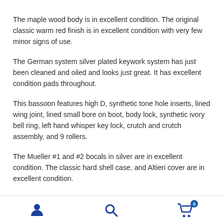The maple wood body is in excellent condition. The original classic warm red finish is in excellent condition with very few minor signs of use.
The German system silver plated keywork system has just been cleaned and oiled and looks just great. It has excellent condition pads throughout.
This bassoon features high D, synthetic tone hole inserts, lined wing joint, lined small bore on boot, body lock, synthetic ivory bell ring, left hand whisper key lock, crutch and crutch assembly, and 9 rollers.
The Mueller #1 and #2 bocals in silver are in excellent condition. The classic hard shell case, and Altieri cover are in excellent condition.
To purchase or trial this instrument email us or call us at